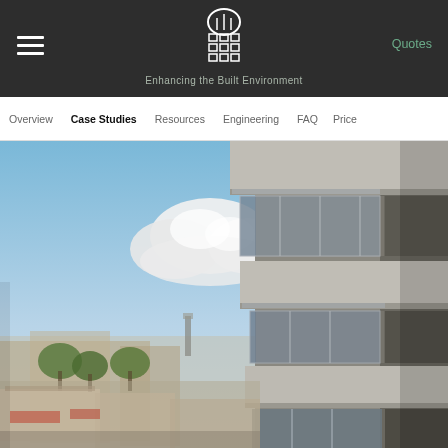Enhancing the Built Environment
Quotes
Overview | Case Studies | Resources | Engineering | FAQ | Price
[Figure (photo): Exterior photograph of a modern multi-storey building with concrete balconies, glass balustrades, and dark cladding panels. Blue sky with clouds in the background, urban surroundings visible below.]